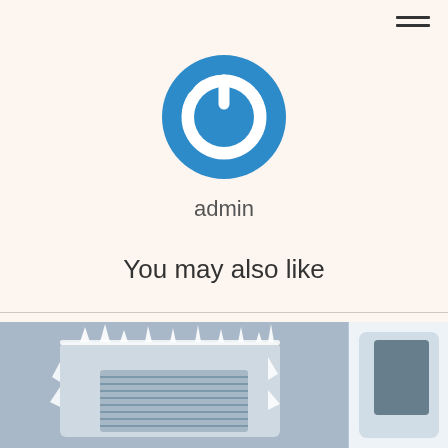[Figure (logo): Blue circular power button icon/logo]
admin
You may also like
[Figure (photo): Frozen/icy HVAC or electrical unit covered in icicles]
[Figure (photo): Partial view of a white appliance or device]